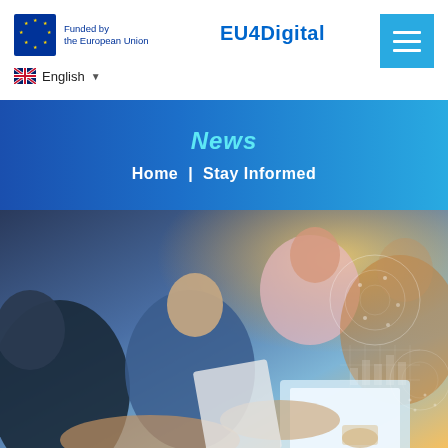EU4Digital — Funded by the European Union
English
News
Home | Stay Informed
[Figure (photo): Group of young professionals collaborating around a laptop, with digital technology overlay graphics on the right side]